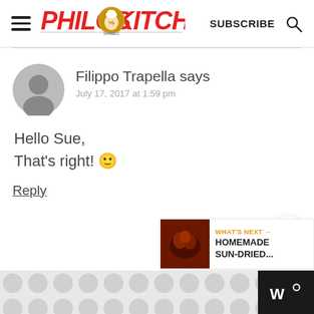Philos Kitchen — SUBSCRIBE
Filippo Trapella says
July 17, 2017 at 1:59 pm
Hello Sue,
That's right! 🙂
Reply
WHAT'S NEXT → HOMEMADE SUN-DRIED...